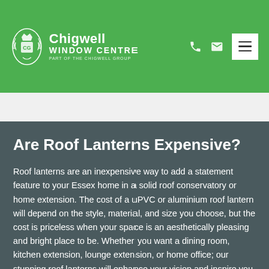Chigwell Window Centre – Part of the Chigwell Group
Are Roof Lanterns Expensive?
Roof lanterns are an inexpensive way to add a statement feature to your Essex home in a solid roof conservatory or home extension. The cost of a uPVC or aluminium roof lantern will depend on the style, material, and size you choose, but the cost is priceless when your space is an aesthetically pleasing and bright place to be. Whether you want a dining room, kitchen extension, lounge extension, or home office; our stunning roof lanterns will enhance your vision and inspire you to create a stylish space in Essex that